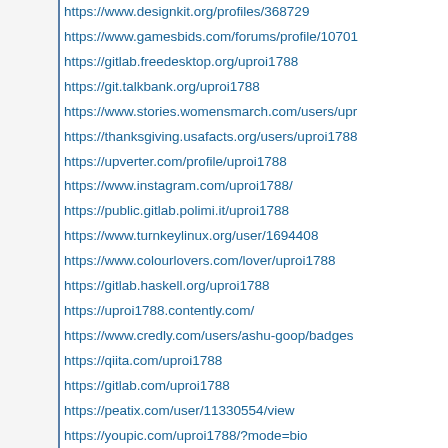https://www.designkit.org/profiles/368729
https://www.gamesbids.com/forums/profile/10701
https://gitlab.freedesktop.org/uproi1788
https://git.talkbank.org/uproi1788
https://www.stories.womensmarch.com/users/upr
https://thanksgiving.usafacts.org/users/uproi1788
https://upverter.com/profile/uproi1788
https://www.instagram.com/uproi1788/
https://public.gitlab.polimi.it/uproi1788
https://www.turnkeylinux.org/user/1694408
https://www.colourlovers.com/lover/uproi1788
https://gitlab.haskell.org/uproi1788
https://uproi1788.contently.com/
https://www.credly.com/users/ashu-goop/badges
https://qiita.com/uproi1788
https://gitlab.com/uproi1788
https://peatix.com/user/11330554/view
https://youpic.com/uproi1788/?mode=bio
https://blender.community/ashugoop/
https://sharemylesson.com/users/uproi1788
https://git.asi.ru/uproi1788
https://my.stuff.co.nz/profile/uproi1788
https://8tracks.com/uproi1788
https://www.zazzle.com/mbr/23897239735472205
https://www.cosplayisland.co.uk/overview/uproi17